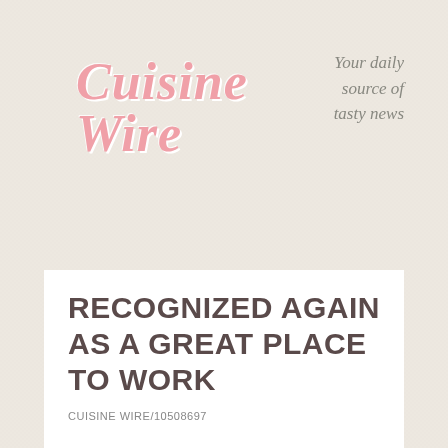Cuisine Wire
Your daily source of tasty news
[Figure (screenshot): Navigation bar with pink/salmon background containing a white dropdown selector labeled 'Menu' with a chevron arrow]
RECOGNIZED AGAIN AS A GREAT PLACE TO WORK
CUISINE WIRE/10508697